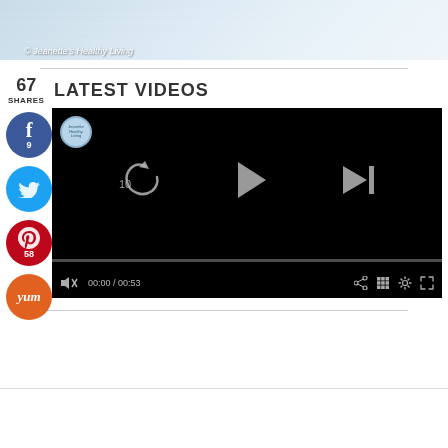[Figure (photo): Top portion of a food/health blog image with light blue-white tones, watermark reading © Jeanette's Healthy Living]
LATEST VIDEOS
[Figure (screenshot): Video player with black background showing playback controls: replay 10, play button, next button, progress bar at 00:00/00:53, volume muted icon, share, grid, settings, and fullscreen icons. Channel icon visible in top-left corner.]
67 SHARES
[Figure (infographic): Social sharing sidebar buttons: Facebook (9), Twitter, Pinterest (58), Yummly]
© Jeanette's Healthy Living